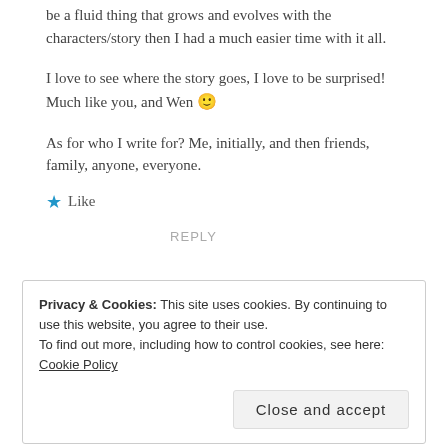be a fluid thing that grows and evolves with the characters/story then I had a much easier time with it all.
I love to see where the story goes, I love to be surprised! Much like you, and Wen 🙂
As for who I write for? Me, initially, and then friends, family, anyone, everyone.
★ Like
REPLY
Privacy & Cookies: This site uses cookies. By continuing to use this website, you agree to their use.
To find out more, including how to control cookies, see here: Cookie Policy
Close and accept